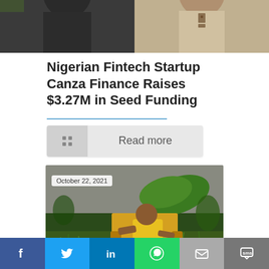[Figure (photo): Top portion of a photo showing two people, one in a dark outfit on the left and one in a light/tan outfit on the right, cropped at torso level]
Nigerian Fintech Startup Canza Finance Raises $3.27M in Seed Funding
[Figure (screenshot): Read more button with a grid-of-dots icon on the left and 'Read more' text]
[Figure (photo): Photo dated October 22, 2021 showing a woman in a yellow top and blue pants sitting in a yellow/golden armchair outdoors in a grassy field with large tropical leaves and cloudy sky in background]
[Figure (infographic): Social sharing bar at the bottom with icons for Facebook, Twitter, LinkedIn, WhatsApp, Email, and SMS]